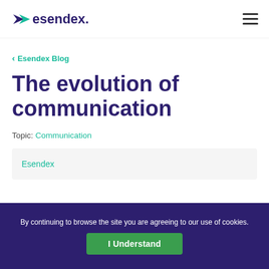esendex
‹ Esendex Blog
The evolution of communication
Topic: Communication
Esendex
By continuing to browse the site you are agreeing to our use of cookies.
I Understand